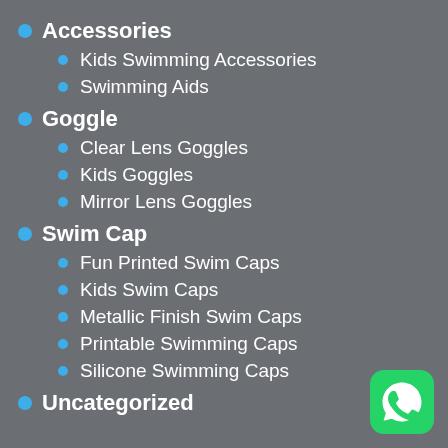Accessories
Kids Swimming Accessories
Swimming Aids
Goggle
Clear Lens Goggles
Kids Goggles
Mirror Lens Goggles
Swim Cap
Fun Printed Swim Caps
Kids Swim Caps
Metallic Finish Swim Caps
Printable Swimming Caps
Silicone Swimming Caps
Uncategorized
[Figure (logo): WhatsApp green rounded square icon]